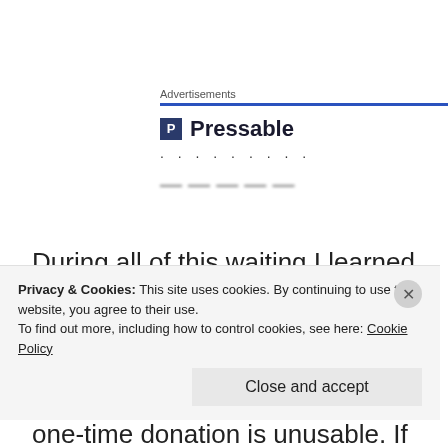Advertisements
[Figure (logo): Pressable logo with blue P icon and bold text 'Pressable', followed by dots and blurred text below]
During all of this waiting I learned that the $100 payment was broken up into two $50 installments which required two separate donations, because a one-time donation is unusable. If cleared to donate I
Privacy & Cookies: This site uses cookies. By continuing to use this website, you agree to their use.
To find out more, including how to control cookies, see here: Cookie Policy
Close and accept